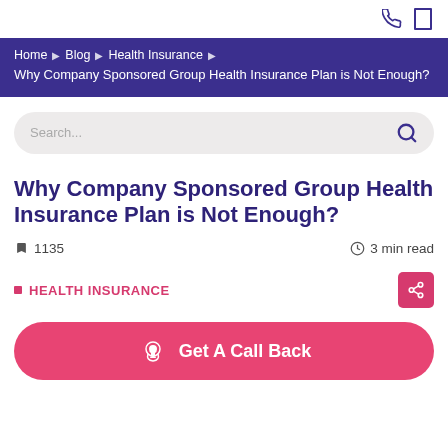☎ □
Home › Blog › Health Insurance › Why Company Sponsored Group Health Insurance Plan is Not Enough?
Search...
Why Company Sponsored Group Health Insurance Plan is Not Enough?
🔖 1135    🕐 3 min read
▪ HEALTH INSURANCE
Get A Call Back